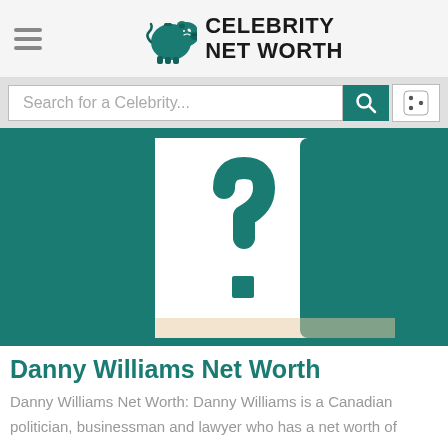CELEBRITY NET WORTH
Search for a Celebrity...
[Figure (photo): Celebrity Net Worth profile placeholder image with a teal question mark on white background, teal curtain-like panels on sides]
Danny Williams Net Worth
Danny Williams Net Worth: Danny Williams is a Canadian politician, businessman and lawyer who has a net worth of